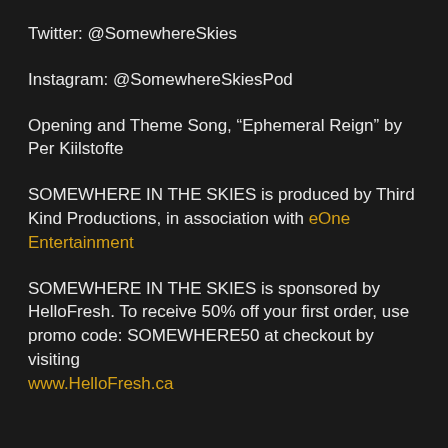Twitter: @SomewhereSkies
Instagram: @SomewhereSkiesPod
Opening and Theme Song, “Ephemeral Reign” by Per Kiilstofte
SOMEWHERE IN THE SKIES is produced by Third Kind Productions, in association with eOne Entertainment
SOMEWHERE IN THE SKIES is sponsored by HelloFresh. To receive 50% off your first order, use promo code: SOMEWHERE50 at checkout by visiting www.HelloFresh.ca